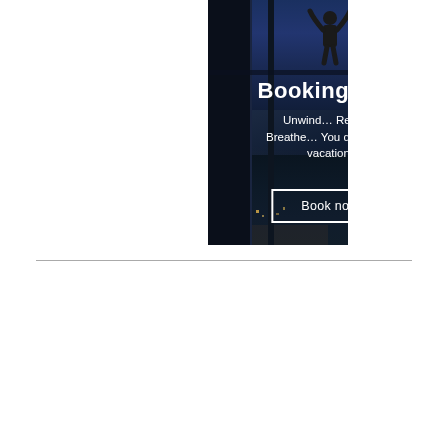[Figure (illustration): Booking.com advertisement banner featuring a dark cityscape night scene viewed through large windows. A silhouetted person with raised arms stands in front of the window. Text overlay reads 'Booking.com', 'Unwind... Relax... Breathe... You deserve a vacation!' and a 'Book now' button with white border.]